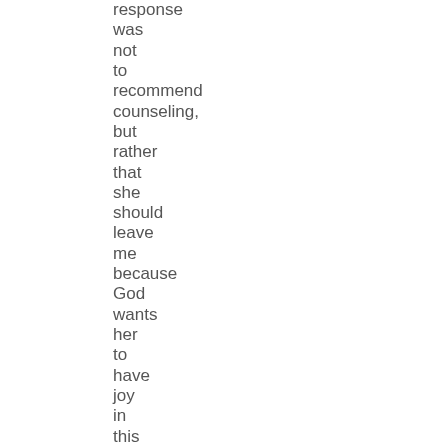response was not to recommend counseling, but rather that she should leave me because God wants her to have joy in this life and her being married